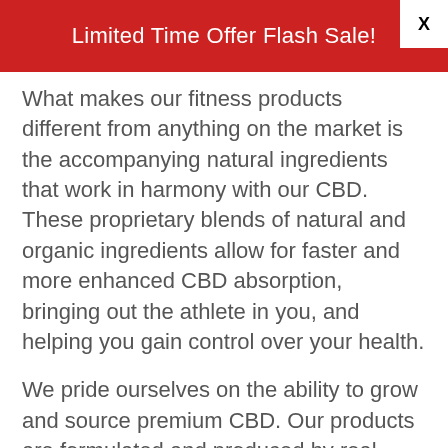Limited Time Offer Flash Sale!
What makes our fitness products different from anything on the market is the accompanying natural ingredients that work in harmony with our CBD. These proprietary blends of natural and organic ingredients allow for faster and more enhanced CBD absorption, bringing out the athlete in you, and helping you gain control over your health.
We pride ourselves on the ability to grow and source premium CBD. Our products are formulated and produced by real athletes, for real athletes. Each CannaPeake CBD product dosage contains at least 20mg of the highest quality CBD and is mixed with fitness